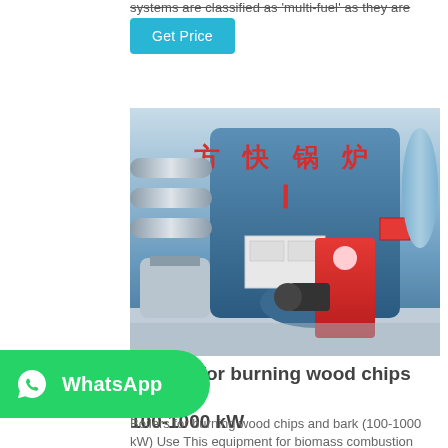systems are classified as 'multi-fuel' as they are dis...
Get Price
[Figure (photo): Industrial boiler with Chinese characters (方快锅炉) in red on a large blue cylindrical vessel, with red burner unit, silver pipes and ducts, photographed indoors in a factory/plant setting.]
Boilers for burning wood chips and 100-1000 kW
Boilers for burning wood chips and bark (100-1000 kW) Use This equipment for biomass combustion